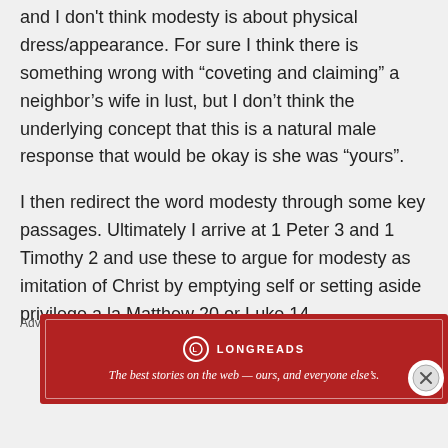and I don't think modesty is about physical dress/appearance. For sure I think there is something wrong with “coveting and claiming” a neighbor’s wife in lust, but I don’t think the underlying concept that this is a natural male response that would be okay is she was “yours”.
I then redirect the word modesty through some key passages. Ultimately I arrive at 1 Peter 3 and 1 Timothy 2 and use these to argue for modesty as imitation of Christ by emptying self or setting aside privilege a la Matthew 20 or Luke 14.
Advertisements
[Figure (other): Longreads advertisement banner in dark red. Shows the Longreads logo (circle with L) centered with horizontal lines, brand name LONGREADS, and tagline: The best stories on the web — ours, and everyone else's.]